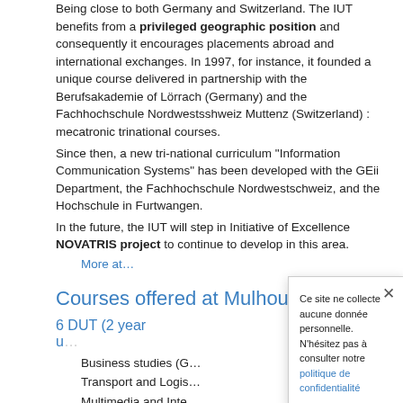Being close to both Germany and Switzerland. The IUT benefits from a privileged geographic position and consequently it encourages placements abroad and international exchanges. In 1997, for instance, it founded a unique course delivered in partnership with the Berufsakademie of Lörrach (Germany) and the Fachhochschule Nordwestsshweiz Muttenz (Switzerland) : mecatronic trinational courses.
Since then, a new tri-national curriculum "Information Communication Systems" has been developed with the GEii Department, the Fachhochschule Nordwestschweiz, and the Hochschule in Furtwangen.
In the future, the IUT will step in Initiative of Excellence NOVATRIS project to continue to develop in this area.
More at…
Courses offered at Mulhouse IUT
6 DUT (2 year u… fe…
Business studies (G… n …
Transport and Logis… ge…
Multimedia and Inte… cs…
Electrical engineerin… m…
Mechanical Engineering (GMP)
Ce site ne collecte aucune donnée personnelle. N'hésitez pas à consulter notre politique de confidentialité